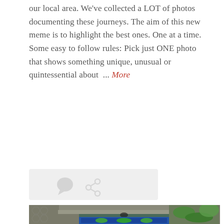our local area. We've collected a LOT of photos documenting these journeys. The aim of this new meme is to highlight the best ones. One at a time. Some easy to follow rules: Pick just ONE photo that shows something unique, unusual or quintessential about ... More
[Figure (other): Action bar with comment bubble icon and share/link icon on light grey background]
[Figure (photo): Photograph of an ornate tiled door set in a stone archway. The door features intricate blue and green floral/botanical tile or glass panel work with vine and leaf patterns. The stone surround shows hexagonal/cobblestone texture. Green leafy plants are visible on the right side. A small pink/red bird illustration or marking is visible near the top center of the door.]